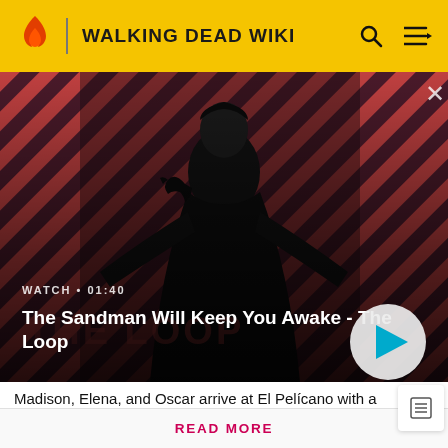WALKING DEAD WIKI
[Figure (screenshot): Video thumbnail showing a dark-cloaked figure with a raven on their shoulder against a diagonal red and dark stripe background. The Loop TV show promotional image.]
WATCH • 01:40 — The Sandman Will Keep You Awake - The Loop
Madison, Elena, and Oscar arrive at El Pelícano with a
Attention! Please be aware that spoilers are not allowed on the wiki and a violation of this policy may result in a ban.
READ MORE